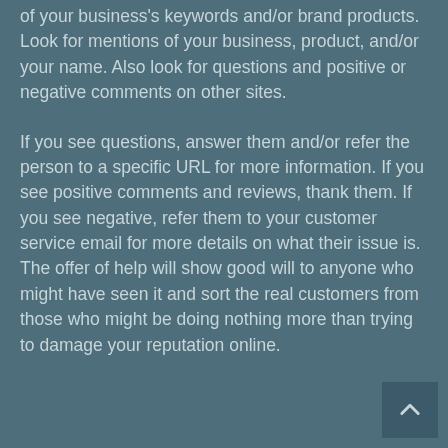of your business's keywords and/or brand products. Look for mentions of your business, product, and/or your name. Also look for questions and positive or negative comments on other sites.
If you see questions, answer them and/or refer the person to a specific URL for more information. If you see positive comments and reviews, thank them. If you see negative, refer them to your customer service email for more details on what their issue is. The offer of help will show good will to anyone who might have seen it and sort the real customers from those who might be doing nothing more than trying to damage your reputation online.